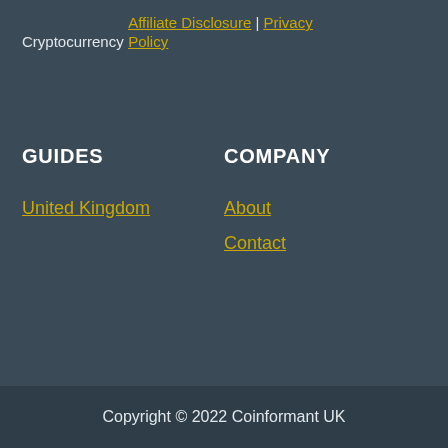Cryptocurrency
Affiliate Disclosure | Privacy Policy
GUIDES
COMPANY
United Kingdom
About
Contact
Copyright © 2022 Coinformant UK